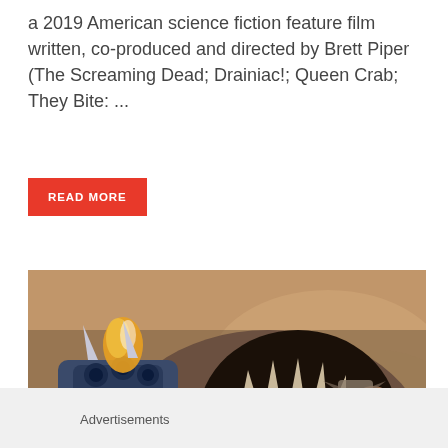a 2019 American science fiction feature film written, co-produced and directed by Brett Piper (The Screaming Dead; Drainiac!; Queen Crab; They Bite: ...
READ MORE
[Figure (photo): A CGI image showing a large dinosaur or monster with an open mouth full of teeth facing forward, alongside a blue mechanical/robotic figure with gun barrels. Green jungle foliage is visible at the bottom left, and a misty brownish sky is in the background with what appears to be a flying vehicle.]
Advertisements